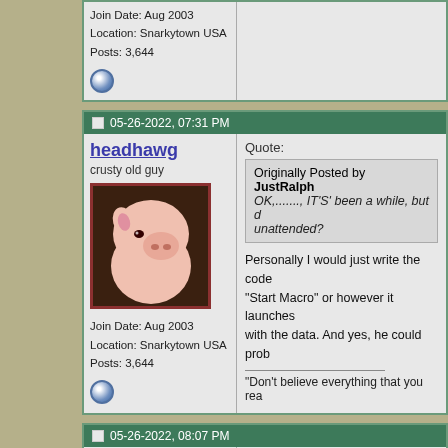Join Date: Aug 2003
Location: Snarkytown USA
Posts: 3,644
05-26-2022, 07:31 PM
headhawg
crusty old guy
Join Date: Aug 2003
Location: Snarkytown USA
Posts: 3,644
Quote:
Originally Posted by JustRalph
OK,......., IT'S' been a while, but did you leave it unattended?

Personally I would just write the code to click the "Start Macro" or however it launches and then populate with the data. And yes, he could prob...

"Don't believe everything that you rea...
05-26-2022, 08:07 PM
geroge.burns99
Veteran
Join Date: May 2021
Quote:
Originally Posted by headhawg
Just a post and run, Mike. Back...